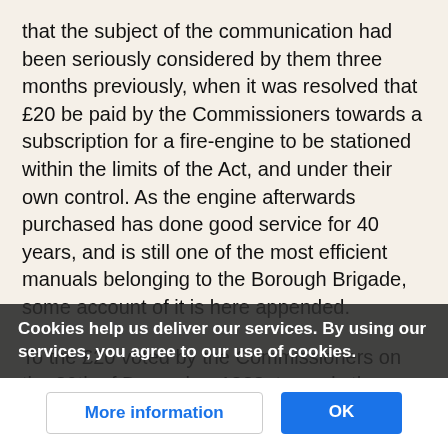that the subject of the communication had been seriously considered by them three months previously, when it was resolved that £20 be paid by the Commissioners towards a subscription for a fire-engine to be stationed within the limits of the Act, and under their own control. As the engine afterwards purchased has done good service for 40 years, and is still one of the most efficient manuals belonging to the Borough Brigade, some account of it is here appended.
To the £20 voted by the Commissioners on the 29th of December 1838, towards the proposed subscription for a fire-engine, the collector reported at the next quarterly meeting that the subscriptions amounted to £80 12s., and that other sums had been promised. At a later period, Mr. W. E. Burton was requested to ascertain the best apparatus. This
Cookies help us deliver our services. By using our services, you agree to our use of cookies.
More information
OK